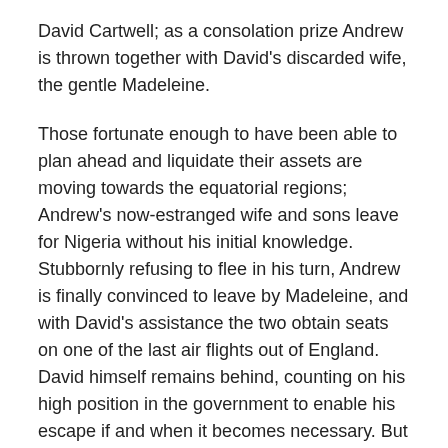David Cartwell; as a consolation prize Andrew is thrown together with David's discarded wife, the gentle Madeleine.
Those fortunate enough to have been able to plan ahead and liquidate their assets are moving towards the equatorial regions; Andrew's now-estranged wife and sons leave for Nigeria without his initial knowledge. Stubbornly refusing to flee in his turn, Andrew is finally convinced to leave by Madeleine, and with David's assistance the two obtain seats on one of the last air flights out of England. David himself remains behind, counting on his high position in the government to enable his escape if and when it becomes necessary. But for now he intends to stay and see England through this crisis to the best of his considerable ability.